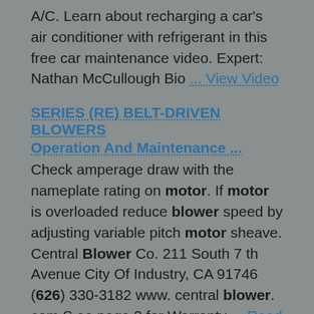A/C. Learn about recharging a car's air conditioner with refrigerant in this free car maintenance video. Expert: Nathan McCullough Bio ... View Video
SERIES (RE) BELT-DRIVEN BLOWERS
Operation And Maintenance ...
Check amperage draw with the nameplate rating on motor. If motor is overloaded reduce blower speed by adjusting variable pitch motor sheave. Central Blower Co. 211 South 7 th Avenue City Of Industry, CA 91746 (626) 330-3182 www. central blower. com S ee page 2 for Warranty ... Read Content